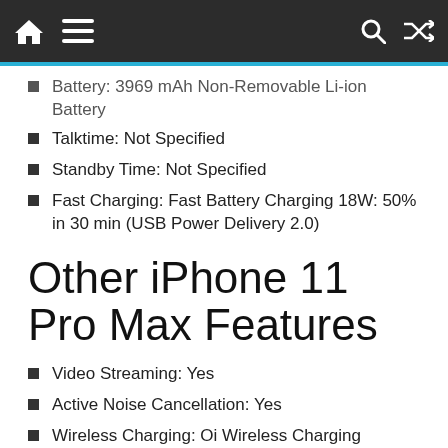Navigation bar with home, menu, search, and shuffle icons
Battery: 3969 mAh Non-Removable Li-ion Battery
Talktime: Not Specified
Standby Time: Not Specified
Fast Charging: Fast Battery Charging 18W: 50% in 30 min (USB Power Delivery 2.0)
Other iPhone 11 Pro Max Features
Video Streaming: Yes
Active Noise Cancellation: Yes
Wireless Charging: Oi Wireless Charging
Book A Demo Today
Open
Ad